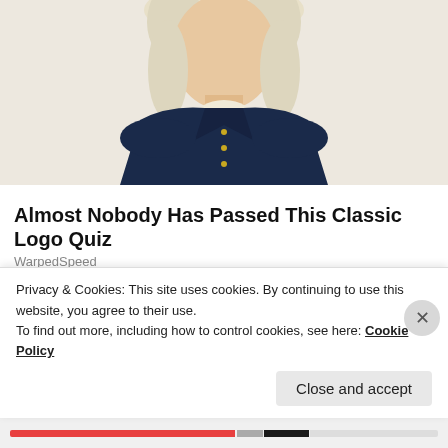[Figure (illustration): Partial illustration of a historical/colonial figure wearing a dark navy coat with white cravat, cropped at the shoulders, on a light background]
Almost Nobody Has Passed This Classic Logo Quiz
WarpedSpeed
[Figure (photo): Photo of a stone college building gateway with a clock tower, resembling a classic Ivy League or top US college campus entrance]
America's Top 50 Colleges
Forbes
Privacy & Cookies: This site uses cookies. By continuing to use this website, you agree to their use.
To find out more, including how to control cookies, see here: Cookie Policy
Close and accept